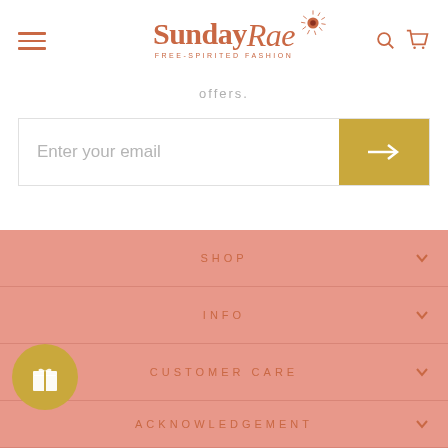[Figure (logo): Sunday Rae logo with decorative sun illustration and tagline 'Free-Spirited Fashion']
offers.
Enter your email
SHOP
INFO
CUSTOMER CARE
ACKNOWLEDGEMENT